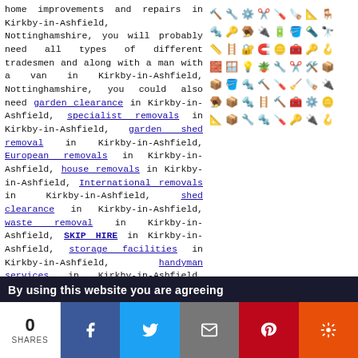home improvements and repairs in Kirkby-in-Ashfield, Nottinghamshire, you will probably need all types of different tradesmen and along with a man with a van in Kirkby-in-Ashfield, Nottinghamshire, you could also need garden clearance in Kirkby-in-Ashfield, specialist removals in Kirkby-in-Ashfield, garden shed removal in Kirkby-in-Ashfield, European removals in Kirkby-in-Ashfield, house removals in Kirkby-in-Ashfield, International removals in Kirkby-in-Ashfield, shed clearance in Kirkby-in-Ashfield, waste removal in Kirkby-in-Ashfield, SKIP HIRE in Kirkby-in-Ashfield, storage facilities in Kirkby-in-Ashfield, handyman services in Kirkby-in-Ashfield, house clearance in Kirkby-in-Ashfield, garage clearance in Kirkby-in-Ashfield, loft clearances in Kirkby-in-Ashfield, and other different Kirkby-in-Ashfield tradesmen.
[Figure (illustration): Grid of tool and trade icons including hammers, screwdrivers, ladders, wrenches, pliers, scissors, and other tradesman tools in black silhouette style]
[Figure (photo): Three photos side by side: (1) Two movers in blue uniforms carrying a large white item with boxes in background, (2) Open rear doors of a removal van showing interior, (3) Man with beard wearing cap sitting in driver seat of vehicle]
By using this website you are agreeing
0 SHARES [Facebook] [Twitter] [Email] [Pinterest] [More]